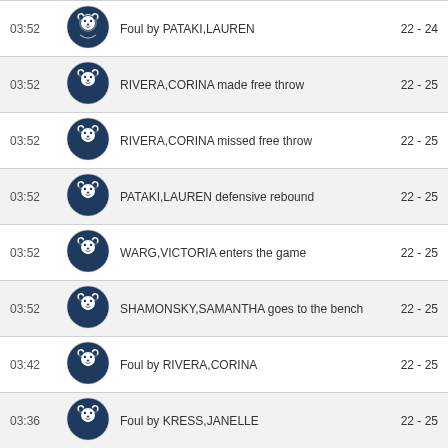| Time | Team | Action | Score |
| --- | --- | --- | --- |
| 03:52 | Penn State | Foul by PATAKI,LAUREN | 22 - 24 |
| 03:52 | Penn State | RIVERA,CORINA made free throw | 22 - 25 |
| 03:52 | Penn State | RIVERA,CORINA missed free throw | 22 - 25 |
| 03:52 | Penn State | PATAKI,LAUREN defensive rebound | 22 - 25 |
| 03:52 | Penn State | WARG,VICTORIA enters the game | 22 - 25 |
| 03:52 | Penn State | SHAMONSKY,SAMANTHA goes to the bench | 22 - 25 |
| 03:42 | Penn State | Foul by RIVERA,CORINA | 22 - 25 |
| 03:36 | Penn State | Foul by KRESS,JANELLE | 22 - 25 |